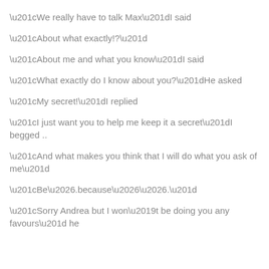“We really have to talk Max”I said
“About what exactly!?”
“About me and what you know”I said
“What exactly do I know about you?”He asked
“My secret!”I replied
“I just want you to help me keep it a secret”I begged ..
“And what makes you think that I will do what you ask of me”
“Be….because…….”
“Sorry Andrea but I won’t be doing you any favours” he